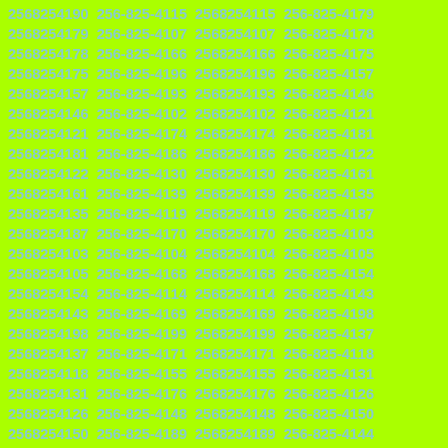2568254190 256-825-4115 2568254115 256-825-4179 2568254179 256-825-4107 2568254107 256-825-4178 2568254178 256-825-4166 2568254166 256-825-4175 2568254175 256-825-4196 2568254196 256-825-4157 2568254157 256-825-4193 2568254193 256-825-4146 2568254146 256-825-4102 2568254102 256-825-4121 2568254121 256-825-4174 2568254174 256-825-4181 2568254181 256-825-4186 2568254186 256-825-4122 2568254122 256-825-4130 2568254130 256-825-4161 2568254161 256-825-4139 2568254139 256-825-4135 2568254135 256-825-4119 2568254119 256-825-4187 2568254187 256-825-4170 2568254170 256-825-4103 2568254103 256-825-4104 2568254104 256-825-4105 2568254105 256-825-4168 2568254168 256-825-4154 2568254154 256-825-4114 2568254114 256-825-4143 2568254143 256-825-4169 2568254169 256-825-4198 2568254198 256-825-4199 2568254199 256-825-4137 2568254137 256-825-4171 2568254171 256-825-4118 2568254118 256-825-4155 2568254155 256-825-4131 2568254131 256-825-4176 2568254176 256-825-4126 2568254126 256-825-4148 2568254148 256-825-4150 2568254150 256-825-4189 2568254189 256-825-4144 2568254144 256-825-4138 2568254138 256-825-4149 2568254149 256-825-4194 2568254194 256-825-4134 2568254134 256-825-4162 2568254162 256-825-4182